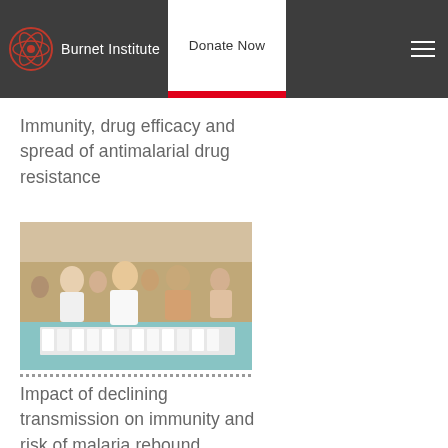Burnet Institute — Donate Now
Immunity, drug efficacy and spread of antimalarial drug resistance
[Figure (photo): Group of people sitting cross-legged on the floor, with white papers/booklets arranged in rows in front of them. Appears to be a community health education or distribution event in Southeast Asia.]
Impact of declining transmission on immunity and risk of malaria rebound
[Figure (photo): Partially visible image at bottom of page, grey/light colored, content not fully visible.]